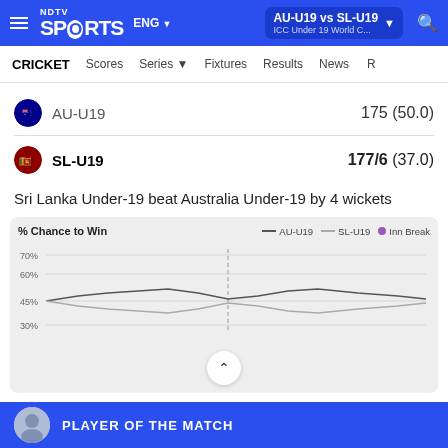NDTV Sports ENG | AU-U19 vs SL-U19 ICC Under 19 World C...
CRICKET | Scores | Series | Fixtures | Results | News
AU-U19   175 (50.0)
SL-U19   177/6 (37.0)
Sri Lanka Under-19 beat Australia Under-19 by 4 wickets
[Figure (line-chart): Win probability chart showing chance to win percentage for AU-U19 and SL-U19 with Inn Break marker. Y-axis shows 30%, 45%, 60%, 70%.]
PLAYER OF THE MATCH